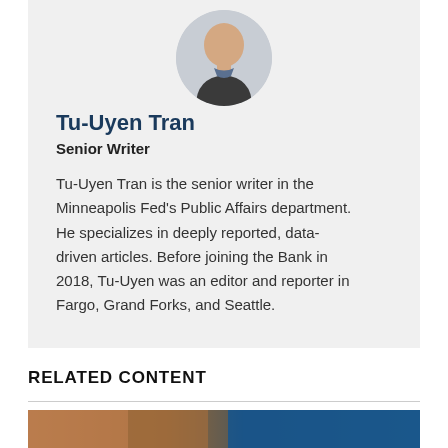[Figure (photo): Circular headshot photo of Tu-Uyen Tran, a man in a dark sweater]
Tu-Uyen Tran
Senior Writer
Tu-Uyen Tran is the senior writer in the Minneapolis Fed's Public Affairs department. He specializes in deeply reported, data-driven articles. Before joining the Bank in 2018, Tu-Uyen was an editor and reporter in Fargo, Grand Forks, and Seattle.
RELATED CONTENT
[Figure (photo): Partial photo at bottom of page showing a warm-toned and blue-toned image]